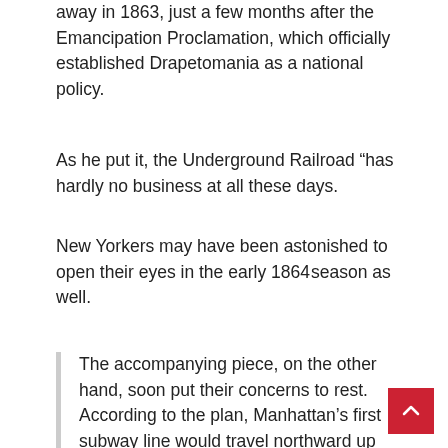away in 1863, just a few months after the Emancipation Proclamation, which officially established Drapetomania as a national policy.
As he put it, the Underground Railroad “has hardly no business at all these days.
New Yorkers may have been astonished to open their eyes in the early 1864 season as well.
The accompanying piece, on the other hand, soon put their concerns to rest. According to the plan, Manhattan’s first subway line would travel northward up Broadway from the Battery to Central Park, beginning at